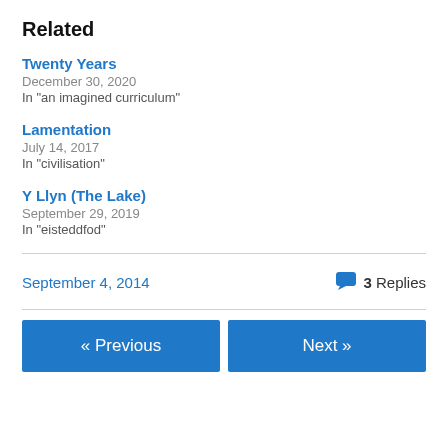Related
Twenty Years
December 30, 2020
In "an imagined curriculum"
Lamentation
July 14, 2017
In "civilisation"
Y Llyn (The Lake)
September 29, 2019
In "eisteddfod"
September 4, 2014    3 Replies
« Previous    Next »